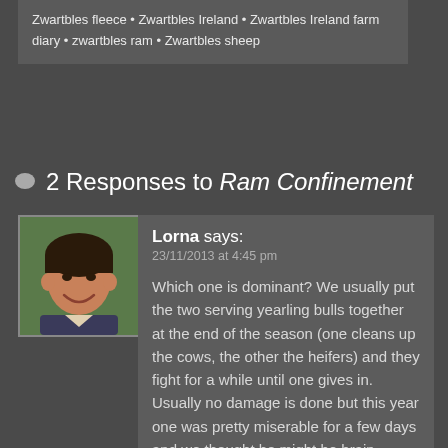Zwartbles fleece • Zwartbles Ireland • Zwartbles Ireland farm diary • zwartbles ram • Zwartbles sheep
2 Responses to Ram Confinement
Lorna says: 23/11/2013 at 4:45 pm
Which one is dominant? We usually put the two serving yearling bulls together at the end of the season (one cleans up the cows, the other the heifers) and they fight for a while until one gives in. Usually no damage is done but this year one was pretty miserable for a few days and we thought he might be brain